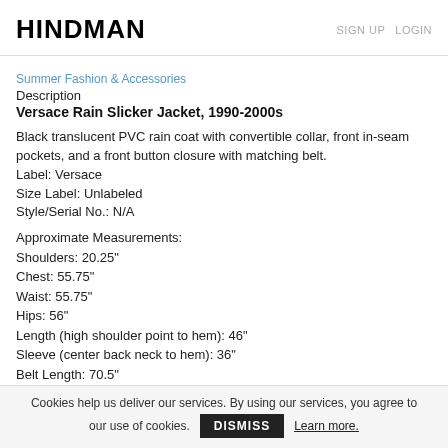HINDMAN   SIGN UP  LOGIN
Summer Fashion & Accessories
Description
Versace Rain Slicker Jacket, 1990-2000s
Black translucent PVC rain coat with convertible collar, front in-seam pockets, and a front button closure with matching belt.
Label: Versace
Size Label: Unlabeled
Style/Serial No.: N/A
Approximate Measurements:
Shoulders: 20.25"
Chest: 55.75"
Waist: 55.75"
Hips: 56"
Length (high shoulder point to hem): 46"
Sleeve (center back neck to hem): 36"
Belt Length: 70.5"
Belt Width: 2"
Cookies help us deliver our services. By using our services, you agree to our use of cookies.   DISMISS   Learn more.